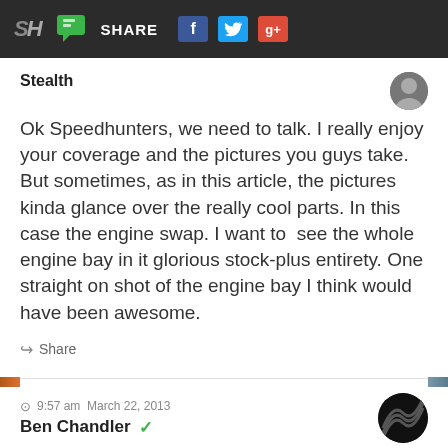[Figure (screenshot): Top navigation bar with SH logo, chat icon, SHARE text, Facebook icon, Twitter bird icon, and Google+ icon on dark background]
Stealth
Ok Speedhunters, we need to talk. I really enjoy your coverage and the pictures you guys take. But sometimes, as in this article, the pictures kinda glance over the really cool parts. In this case the engine swap. I want to  see the whole engine bay in it glorious stock-plus entirety. One straight on shot of the engine bay I think would have been awesome.
Share
9:57 am  March 22, 2013
Ben Chandler
The engine swap is super on-point.